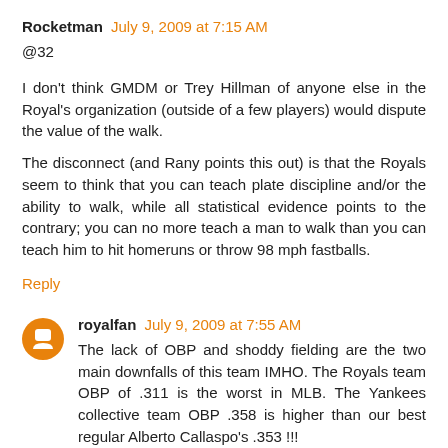Rocketman July 9, 2009 at 7:15 AM
@32
I don't think GMDM or Trey Hillman of anyone else in the Royal's organization (outside of a few players) would dispute the value of the walk.
The disconnect (and Rany points this out) is that the Royals seem to think that you can teach plate discipline and/or the ability to walk, while all statistical evidence points to the contrary; you can no more teach a man to walk than you can teach him to hit homeruns or throw 98 mph fastballs.
Reply
royalfan July 9, 2009 at 7:55 AM
The lack of OBP and shoddy fielding are the two main downfalls of this team IMHO. The Royals team OBP of .311 is the worst in MLB. The Yankees collective team OBP .358 is higher than our best regular Alberto Callaspo's .353 !!!